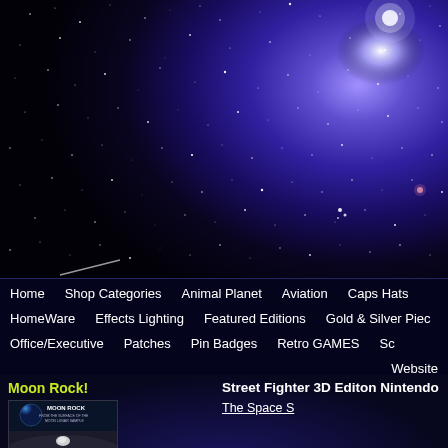[Figure (photo): Deep space starfield background with blue/purple nebula, white stars scattered across dark sky]
[Figure (infographic): Navigation menu bar with dark navy background containing website navigation links]
Home
Shop Categories
Animal Planet
Aviation
Caps Hats
HomeWare
Effects Lighting
Featured Editions
Gold & Silver Piec
Office/Executive
Patches
Pin Badges
Retro GAMES
Sc
Website
Moon Rock!
[Figure (photo): Moon Rock product image showing lunar surface with earth visible in background, product packaging]
Street Fighter 3D Editon Nintendo
The Space S